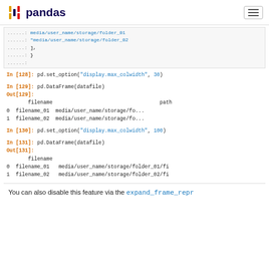pandas
......:
......:
......:
......:
......:
In [128]: pd.set_option("display.max_colwidth", 30)
In [129]: pd.DataFrame(datafile)
Out[129]:
   filename                            path
0  filename_01  media/user_name/storage/fo...
1  filename_02  media/user_name/storage/fo...
In [130]: pd.set_option("display.max_colwidth", 100)
In [131]: pd.DataFrame(datafile)
Out[131]:
   filename
0  filename_01  media/user_name/storage/folder_01/fi
1  filename_02  media/user_name/storage/folder_02/fi
You can also disable this feature via the expand_frame_repr